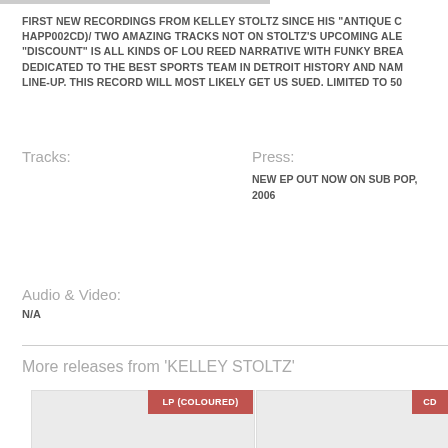FIRST NEW RECORDINGS FROM KELLEY STOLTZ SINCE HIS "ANTIQUE C... HAPP002CD)/ TWO AMAZING TRACKS NOT ON STOLTZ'S UPCOMING ALE... "DISCOUNT" IS ALL KINDS OF LOU REED NARRATIVE WITH FUNKY BREA... DEDICATED TO THE BEST SPORTS TEAM IN DETROIT HISTORY AND NAM... LINE-UP. THIS RECORD WILL MOST LIKELY GET US SUED. LIMITED TO 50...
Tracks:
Press:
NEW EP OUT NOW ON SUB POP, 2006
Audio & Video:
N/A
More releases from 'KELLEY STOLTZ'
[Figure (other): Album release card with LP (COLOURED) badge in red]
[Figure (other): Album release card with CD badge in red]